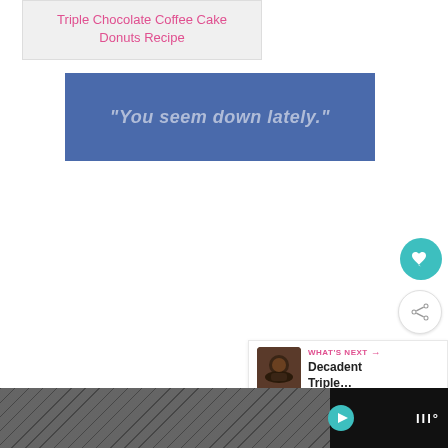Triple Chocolate Coffee Cake Donuts Recipe
[Figure (other): Blue banner advertisement with italic bold text reading "You seem down lately."]
[Figure (other): Teal circular heart/favorite button icon]
[Figure (other): White circular share button icon with network share symbol]
WHAT'S NEXT → Decadent Triple...
[Figure (other): Bottom advertisement bar with chevron/herringbone pattern, play button, and logo text]